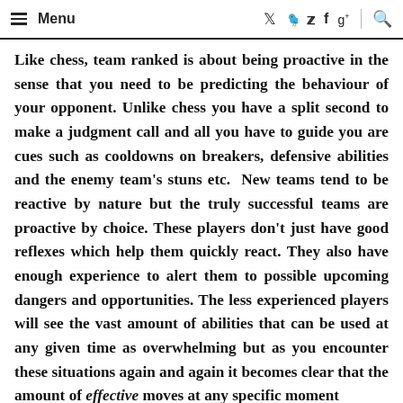≡ Menu  [twitter] [facebook] [google+] [search]
Like chess, team ranked is about being proactive in the sense that you need to be predicting the behaviour of your opponent. Unlike chess you have a split second to make a judgment call and all you have to guide you are cues such as cooldowns on breakers, defensive abilities and the enemy team's stuns etc.  New teams tend to be reactive by nature but the truly successful teams are proactive by choice. These players don't just have good reflexes which help them quickly react. They also have enough experience to alert them to possible upcoming dangers and opportunities. The less experienced players will see the vast amount of abilities that can be used at any given time as overwhelming but as you encounter these situations again and again it becomes clear that the amount of effective moves at any specific moment